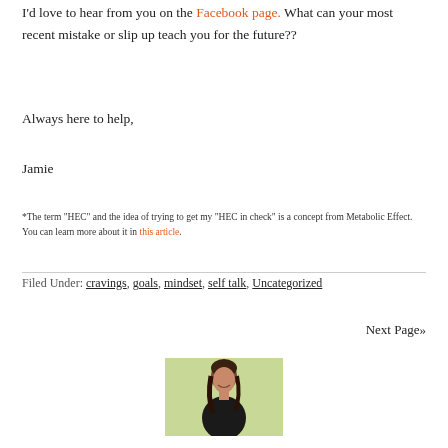I'd love to hear from you on the Facebook page. What can your most recent mistake or slip up teach you for the future??
Always here to help,
Jamie
*The term “HEC” and the idea of trying to get my “HEC in check” is a concept from Metabolic Effect. You can learn more about it in this article.
Filed Under: cravings, goals, mindset, self talk, Uncategorized
Next Page»
[Figure (photo): Photo of a smiling woman with dark hair against a light green background]